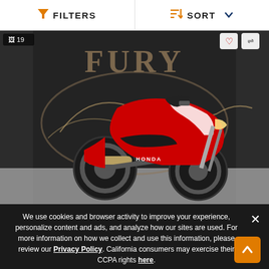FILTERS   SORT
[Figure (photo): Red Honda CBR motorcycle parked in front of a Fury dealership branded backdrop with dragon/horse logo. Image badge shows 19 photos. Heart and compare icons in top right of image.]
2023 Honda CBR...
We use cookies and browser activity to improve your experience, personalize content and ads, and analyze how our sites are used. For more information on how we collect and use this information, please review our Privacy Policy. California consumers may exercise their CCPA rights here.